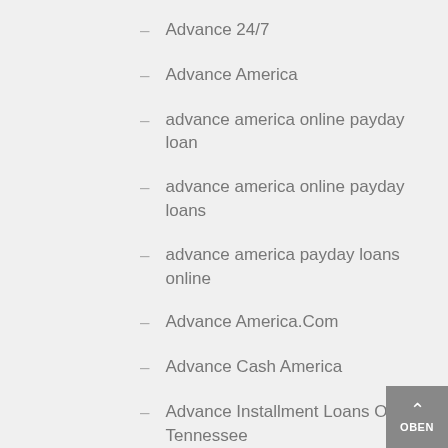Advance 24/7
Advance America
advance america online payday loan
advance america online payday loans
advance america payday loans online
Advance America.Com
Advance Cash America
Advance Installment Loans Online Tennessee
advance payday loan
advance payday loan online